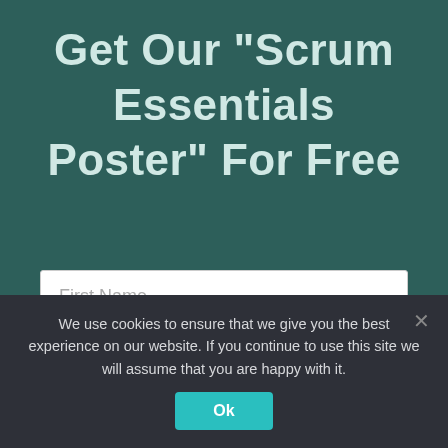Get Our "Scrum Essentials Poster" For Free
[Figure (screenshot): Web form with three input fields: First Name, Family Name, and Email on a dark teal background]
We use cookies to ensure that we give you the best experience on our website. If you continue to use this site we will assume that you are happy with it.